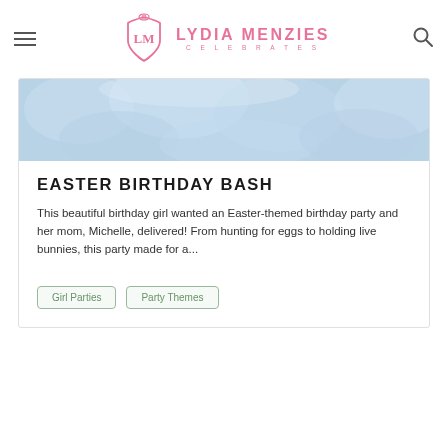LYDIA MENZIES CELEBRATES
[Figure (photo): Light blue fabric or ruffled textile background photo]
EASTER BIRTHDAY BASH
This beautiful birthday girl wanted an Easter-themed birthday party and her mom, Michelle, delivered! From hunting for eggs to holding live bunnies, this party made for a...
Girl Parties
Party Themes